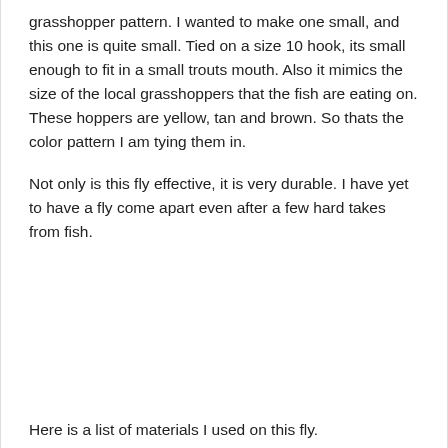grasshopper pattern. I wanted to make one small, and this one is quite small. Tied on a size 10 hook, its small enough to fit in a small trouts mouth. Also it mimics the size of the local grasshoppers that the fish are eating on. These hoppers are yellow, tan and brown. So thats the color pattern I am tying them in.
Not only is this fly effective, it is very durable. I have yet to have a fly come apart even after a few hard takes from fish.
Here is a list of materials I used on this fly.